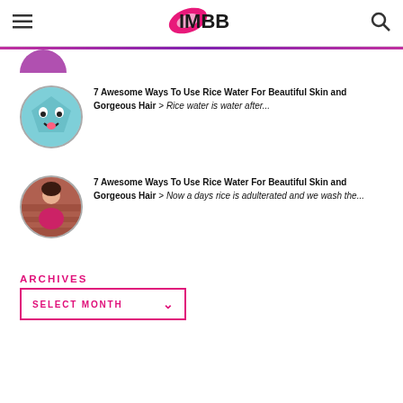IMBB - Beauty blog header with hamburger menu and search icon
[Figure (illustration): Partially visible circular avatar cut off at top of page]
7 Awesome Ways To Use Rice Water For Beautiful Skin and Gorgeous Hair > Rice water is water after...
7 Awesome Ways To Use Rice Water For Beautiful Skin and Gorgeous Hair > Now a days rice is adulterated and we wash the...
ARCHIVES
SELECT MONTH